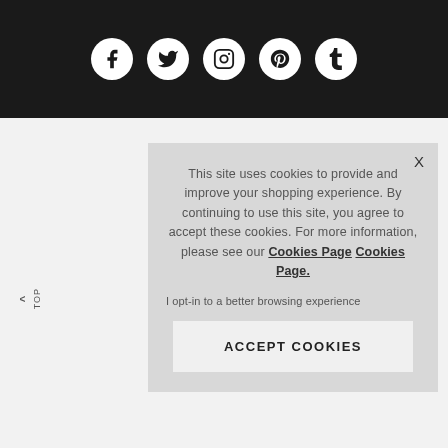[Figure (other): Dark header bar with five social media icons (Facebook, Twitter, Instagram, Pinterest, Tumblr) displayed as white circles on black background]
This site uses cookies to provide and improve your shopping experience. By continuing to use this site, you agree to accept these cookies. For more information, please see our Cookies Page Cookies Page.
I opt-in to a better browsing experience
ACCEPT COOKIES